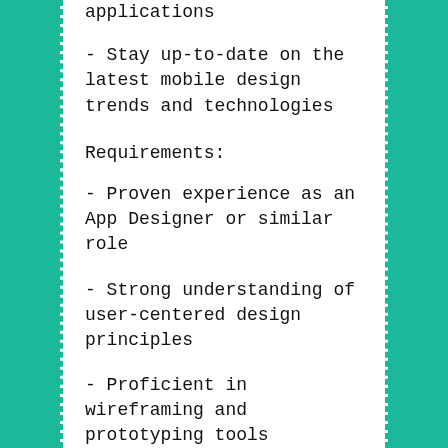applications
- Stay up-to-date on the latest mobile design trends and technologies
Requirements:
- Proven experience as an App Designer or similar role
- Strong understanding of user-centered design principles
- Proficient in wireframing and prototyping tools
- Excellent visual design skills
- Good communication and collaboration